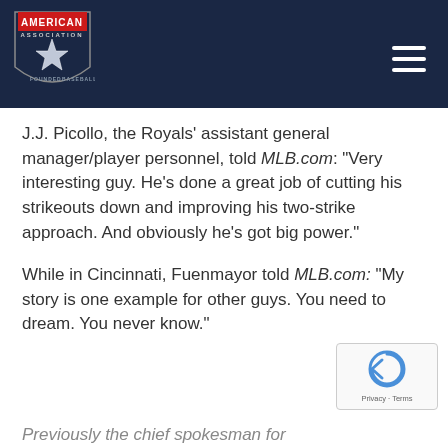[Figure (logo): American Association baseball league logo — navy shield shape with red banner reading AMERICAN at top, star in center, on dark navy header bar with hamburger menu icon at right]
J.J. Picollo, the Royals' assistant general manager/player personnel, told MLB.com: “Very interesting guy. He’s done a great job of cutting his strikeouts down and improving his two-strike approach. And obviously he’s got big power.”
While in Cincinnati, Fuenmayor told MLB.com: “My story is one example for other guys. You need to dream. You never know.”
Previously the chief spokesman for